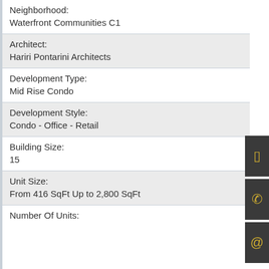Neighborhood:
Waterfront Communities C1
Architect:
Hariri Pontarini Architects
Development Type:
Mid Rise Condo
Development Style:
Condo - Office - Retail
Building Size:
15
Unit Size:
From 416 SqFt Up to 2,800 SqFt
Number Of Units: